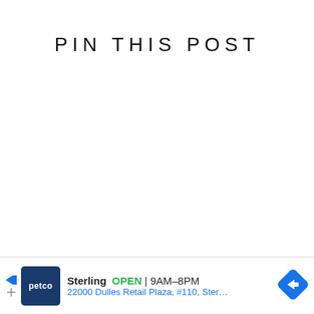PIN THIS POST
[Figure (screenshot): Advertisement banner for Petco Sterling location showing store name, open status, hours 9AM-8PM, address 22000 Dulles Retail Plaza, #110, Sterling, with Petco logo and navigation arrow icon]